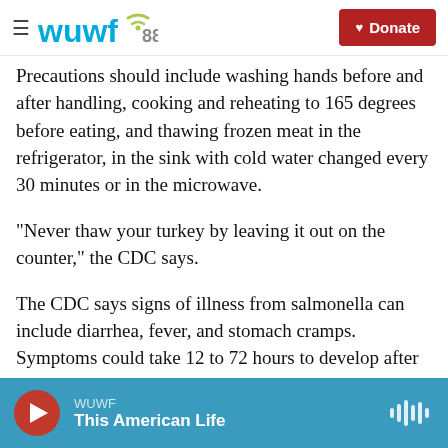WUWF 88.1 | Donate
Precautions should include washing hands before and after handling, cooking and reheating to 165 degrees before eating, and thawing frozen meat in the refrigerator, in the sink with cold water changed every 30 minutes or in the microwave.
"Never thaw your turkey by leaving it out on the counter," the CDC says.
The CDC says signs of illness from salmonella can include diarrhea, fever, and stomach cramps. Symptoms could take 12 to 72 hours to develop after exposure and illness usually lasts 4 to 7 days.
WUWF | This American Life